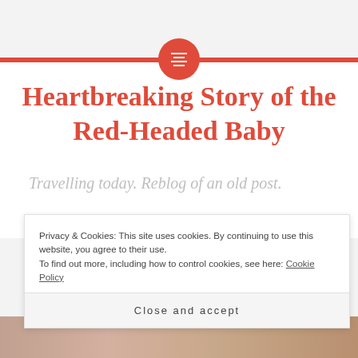[Figure (logo): Red circle with white horizontal lines icon representing a menu/logo]
Heartbreaking Story of the Red-Headed Baby
Travelling today. Reblog of an old post.
Privacy & Cookies: This site uses cookies. By continuing to use this website, you agree to their use.
To find out more, including how to control cookies, see here: Cookie Policy
Close and accept
[Figure (photo): Partial view of a photo at the bottom of the page showing what appears to be a person]